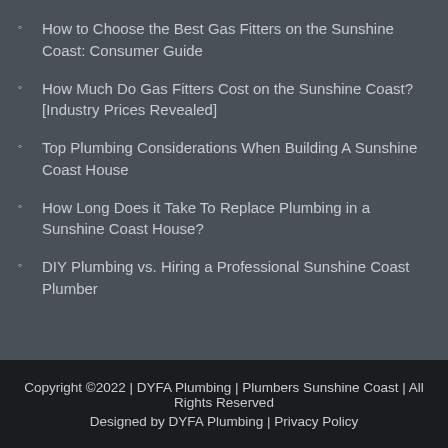How to Choose the Best Gas Fitters on the Sunshine Coast: Consumer Guide
How Much Do Gas Fitters Cost on the Sunshine Coast? [Industry Prices Revealed]
Top Plumbing Considerations When Building A Sunshine Coast House
How Long Does it Take To Replace Plumbing in a Sunshine Coast House?
DIY Plumbing vs. Hiring a Professional Sunshine Coast Plumber
Copyright ©2022 | DYFA Plumbing | Plumbers Sunshine Coast | All Rights Reserved
Designed by DYFA Plumbing | Privacy Policy